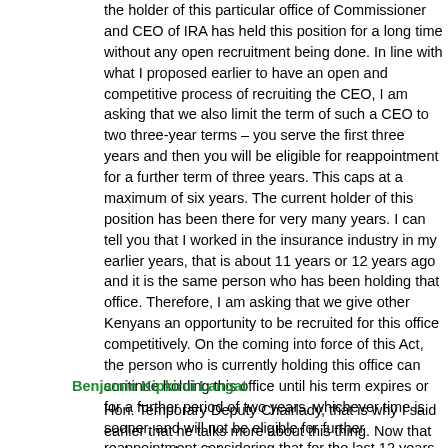the holder of this particular office of Commissioner and CEO of IRA has held this position for a long time without any open recruitment being done. In line with what I proposed earlier to have an open and competitive process of recruiting the CEO, I am asking that we also limit the term of such a CEO to two three-year terms – you serve the first three years and then you will be eligible for reappointment for a further term of three years. This caps at a maximum of six years. The current holder of this position has been there for very many years. I can tell you that I worked in the insurance industry in my earlier years, that is about 11 years or 12 years ago and it is the same person who has been holding that office. Therefore, I am asking that we give other Kenyans an opportunity to be recruited for this office competitively. On the coming into force of this Act, the person who is currently holding this office can continue holding this office until his term expires or for a further period of two years, whichever time is sooner, and will not be eligible for further reappointment considering that for the last 12 years--- I believe I have satisfied the Chairman of this Committee.
Benjamin Kipkirui Langat
Hon. Temporary Deputy Chairlady, that is why I said earlier that he talks more about this thing. Now that he has spoken, it is